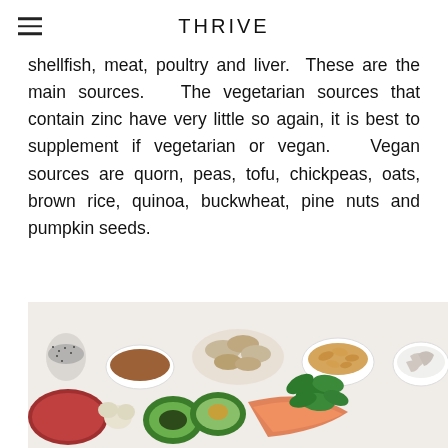THRIVE
shellfish, meat, poultry and liver. These are the main sources. The vegetarian sources that contain zinc have very little so again, it is best to supplement if vegetarian or vegan. Vegan sources are quorn, peas, tofu, chickpeas, oats, brown rice, quinoa, buckwheat, pine nuts and pumpkin seeds.
[Figure (photo): Flat lay of various zinc-rich foods including mushrooms, almonds, spinach, avocado, salmon, garlic, chia seeds, brown powder, and shrimp arranged on a white surface in bowls and loose.]